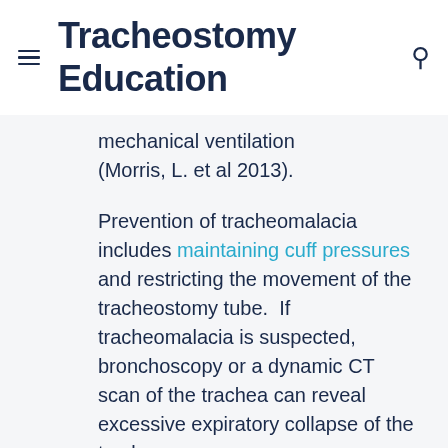Tracheostomy Education
mechanical ventilation (Morris, L. et al 2013).

Prevention of tracheomalacia includes maintaining cuff pressures and restricting the movement of the tracheostomy tube. If tracheomalacia is suspected, bronchoscopy or a dynamic CT scan of the trachea can reveal excessive expiratory collapse of the trachea